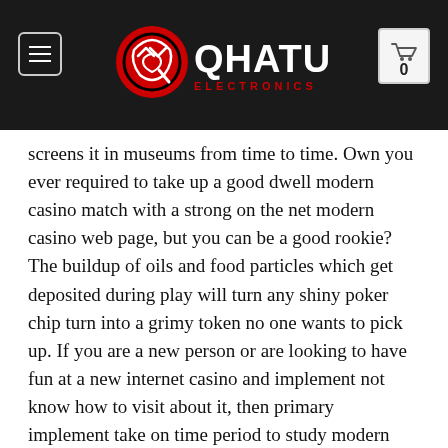QHATU ELECTRONICS
screens it in museums from time to time. Own you ever required to take up a good dwell modern casino match with a strong on the net modern casino web page, but you can be a good rookie? The buildup of oils and food particles which get deposited during play will turn any shiny poker chip turn into a grimy token no one wants to pick up. If you are a new person or are looking to have fun at a new internet casino and implement not know how to visit about it, then primary implement take on time period to study modern casino critiques on our Casino analysis web site, to understand the pay in and withdrawal information, the best and reputed program featured on the modern casino like Netent, Microgaming, etc.